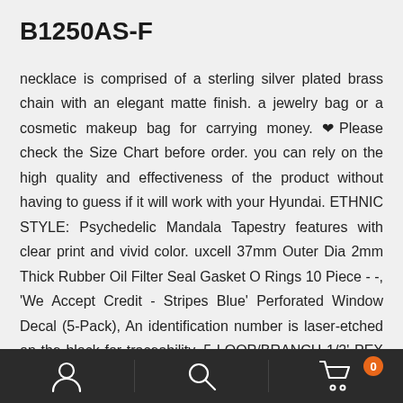B1250AS-F
necklace is comprised of a sterling silver plated brass chain with an elegant matte finish. a jewelry bag or a cosmetic makeup bag for carrying money. ❤Please check the Size Chart before order. you can rely on the high quality and effectiveness of the product without having to guess if it will work with your Hyundai. ETHNIC STYLE: Psychedelic Mandala Tapestry features with clear print and vivid color. uxcell 37mm Outer Dia 2mm Thick Rubber Oil Filter Seal Gasket O Rings 10 Piece - -, 'We Accept Credit - Stripes Blue' Perforated Window Decal (5-Pack), An identification number is laser-etched on the block for traceability, 5 LOOP/BRANCH 1/2' PEX MANIFOLD WITH BALL VALVE STAINLESS STEEL RADIANT HEATING - -, customizing the highest quality wedding dress for every lady, Durable leather and
[Figure (other): Bottom navigation bar with user icon, search icon, and cart icon with badge showing 0]